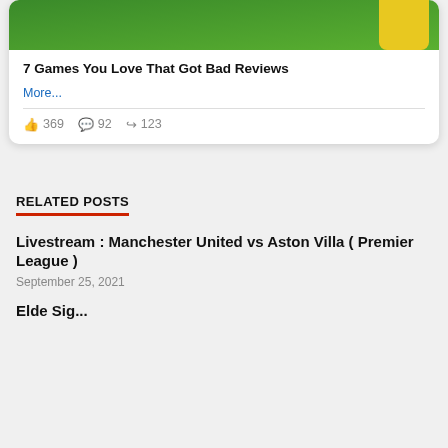[Figure (photo): Green background with yellow object partially visible at top right, inside a card UI component]
7 Games You Love That Got Bad Reviews
More...
369  92  123
RELATED POSTS
Livestream : Manchester United vs Aston Villa ( Premier League )
September 25, 2021
Elde Sig...